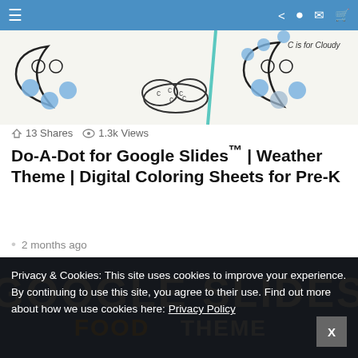Navigation bar with menu, share, search, email, cart icons
[Figure (illustration): Do-A-Dot weather theme coloring sheet showing moon/cloud drawings with blue dot stickers and text 'C is for Cloudy' in top right]
13 Shares   1.3k Views
Do-A-Dot for Google Slides™ | Weather Theme | Digital Coloring Sheets for Pre-K
2 months ago
[Figure (screenshot): Blue banner with large white text 'GOOGLE SLIDES' and orange and white text 'FOOD THEME' below]
Privacy & Cookies: This site uses cookies to improve your experience. By continuing to use this site, you agree to their use. Find out more about how we use cookies here: Privacy Policy